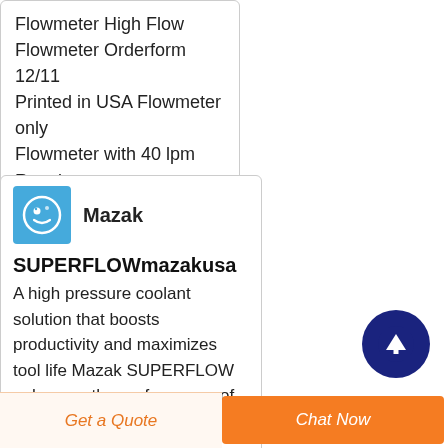Flowmeter High Flow
Flowmeter Orderform 12/11
Printed in USA Flowmeter only
Flowmeter with 40 lpm Restrictor
[Figure (logo): Mazak company logo — light blue square with white circular graphic and face-like design]
Mazak
SUPERFLOWmazakusa
A high pressure coolant solution that boosts productivity and maximizes tool life Mazak SUPERFLOW enhances the performance of your machine by enabling improved chip control and reduced thermal shock for
[Figure (other): Dark navy blue circular scroll-to-top button with white upward arrow icon]
Get a Quote
Chat Now